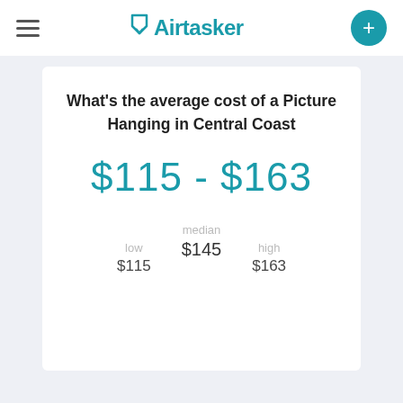Airtasker
What's the average cost of a Picture Hanging in Central Coast
$115 - $163
median $145 | low $115 | high $163